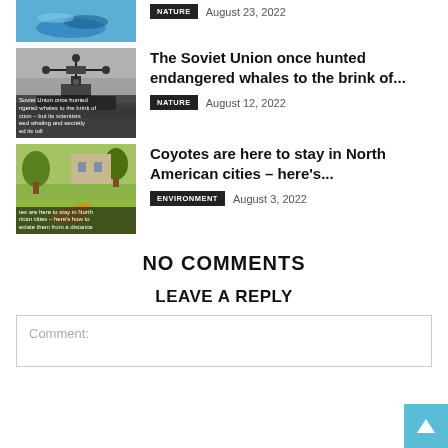[Figure (photo): Partial top article image - blue ocean/dolphin photo with NATURE tag and date]
NATURE  August 23, 2022
[Figure (photo): Black and white photo of a whaling ship/drone vessel with caption text overlay]
The Soviet Union once hunted endangered whales to the brink of...
NATURE  August 12, 2022
[Figure (photo): Photo of coyotes in a park/suburban setting with caption text overlay]
Coyotes are here to stay in North American cities – here's...
ENVIRONMENT  August 3, 2022
NO COMMENTS
LEAVE A REPLY
Comment: